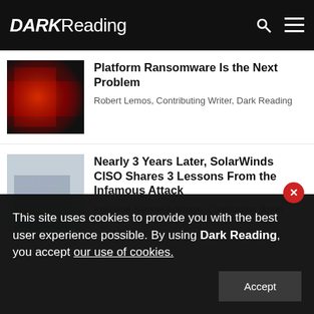DARK Reading
Platform Ransomware Is the Next Problem
Robert Lemos, Contributing Writer, Dark Reading
Nearly 3 Years Later, SolarWinds CISO Shares 3 Lessons From the Infamous Attack
Kolawole Samuel Adebayo, Contributing Writer
This site uses cookies to provide you with the best user experience possible. By using Dark Reading, you accept our use of cookies.